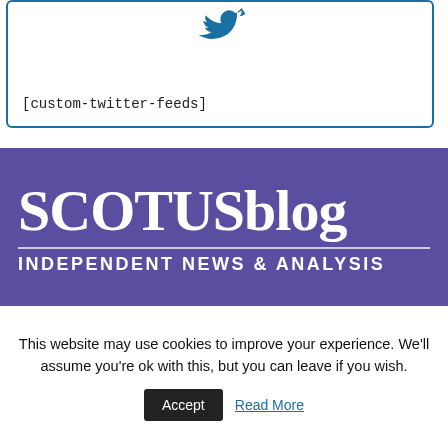[Figure (logo): Twitter bird logo (partial) inside a blue-bordered box with shortcode text]
[custom-twitter-feeds]
[Figure (logo): SCOTUSblog logo banner on purple background with text 'SCOTUSblog' and subtitle 'INDEPENDENT NEWS & ANALYSIS']
This website may use cookies to improve your experience. We'll assume you're ok with this, but you can leave if you wish. Accept Read More